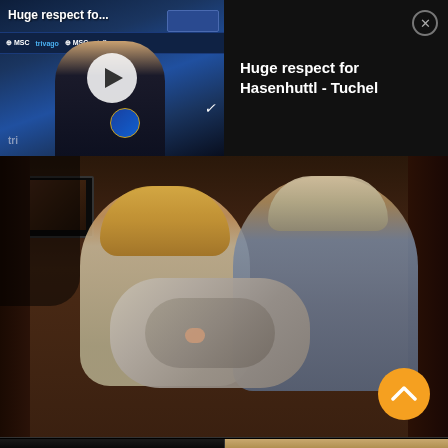[Figure (screenshot): Video thumbnail of a football press conference with Chelsea FC branding (MSC, trivago, Sure logos), a person in dark jacket, play button overlay, and label 'Huge respect fo...']
Huge respect for Hasenhuttl - Tuchel
[Figure (photo): Emotional scene of a young blonde woman and an older man holding and looking at a newborn baby wrapped in a grey blanket, both appear to be crying]
[Figure (photo): Bottom portion of a split video thumbnail showing dark left side and a person on right side with light background]